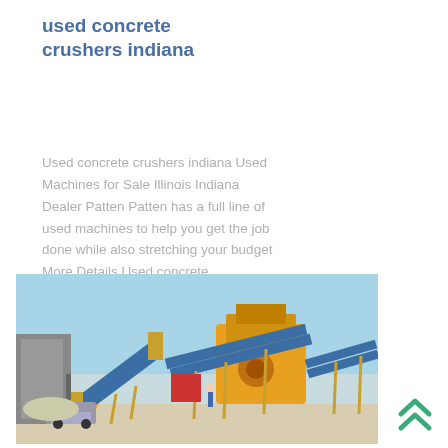used concrete crushers indiana
Used concrete crushers indiana Used Machines for Sale Illinois Indiana Dealer Patten Patten has a full line of used machines to help you get the job done while also stretching your budget More Details Used concrete
[Figure (photo): Industrial concrete crushing and conveyor belt plant facility with yellow machinery, blue conveyor belts, and buildings against a blue sky]
[Figure (other): Double upward chevron arrow icon in teal/green color]